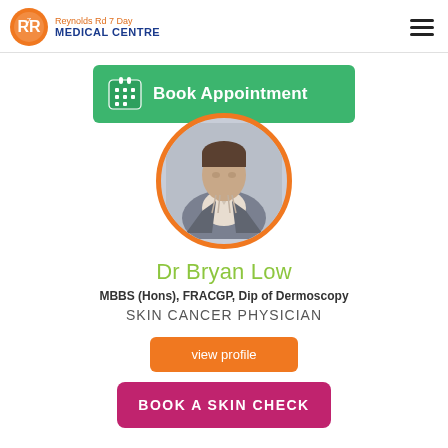Reynolds Rd 7 Day MEDICAL CENTRE
[Figure (other): Book Appointment green button with calendar icon]
[Figure (photo): Circular portrait photo of Dr Bryan Low, a male doctor wearing a grey blazer and striped shirt, with orange circular border]
Dr Bryan Low
MBBS (Hons), FRACGP, Dip of Dermoscopy
SKIN CANCER PHYSICIAN
[Figure (other): Orange 'view profile' button]
[Figure (other): Pink/magenta 'BOOK A SKIN CHECK' button]